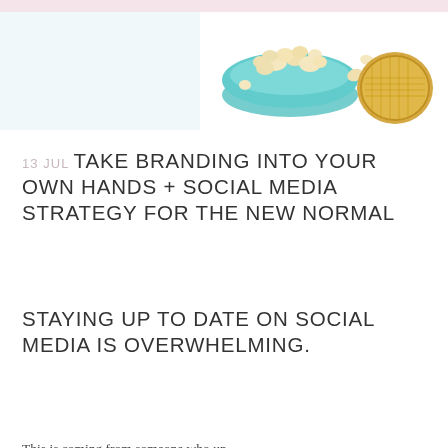[Figure (photo): Photo of a teal bowl of popcorn and a gold makeup compact or similar round gold object on a white background, partially cropped at the top of the page.]
13 JUL TAKE BRANDING INTO YOUR OWN HANDS + SOCIAL MEDIA STRATEGY FOR THE NEW NORMAL
STAYING UP TO DATE ON SOCIAL MEDIA IS OVERWHELMING.
This is coming from someone who up